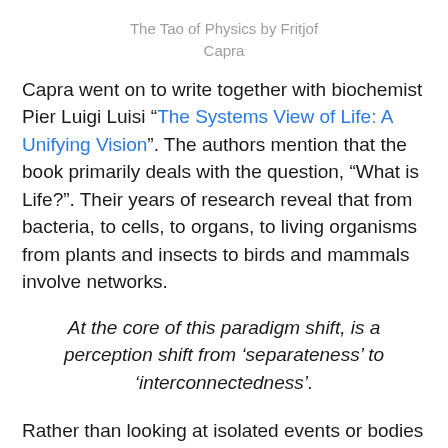The Tao of Physics by Fritjof Capra
Capra went on to write together with biochemist Pier Luigi Luisi “The Systems View of Life: A Unifying Vision”. The authors mention that the book primarily deals with the question, “What is Life?”. Their years of research reveal that from bacteria, to cells, to organs, to living organisms from plants and insects to birds and mammals involve networks.
At the core of this paradigm shift, is a perception shift from ‘separateness’ to ‘interconnectedness’.
Rather than looking at isolated events or bodies within its skin or shell, the most obvious characteristic of life are the relationships among networks with other bacteria, cells